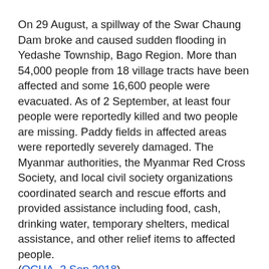On 29 August, a spillway of the Swar Chaung Dam broke and caused sudden flooding in Yedashe Township, Bago Region. More than 54,000 people from 18 village tracts have been affected and some 16,600 people were evacuated. As of 2 September, at least four people were reportedly killed and two people are missing. Paddy fields in affected areas were reportedly severely damaged. The Myanmar authorities, the Myanmar Red Cross Society, and local civil society organizations coordinated search and rescue efforts and provided assistance including food, cash, drinking water, temporary shelters, medical assistance, and other relief items to affected people. (OCHA, 3 Sep 2018)
The areas most affected by the flooding were Yedashe, Taungoo, Oktwin and Kyaut Gyi. More than 78,500 people were reportedly evacuated, although the total number of people affected is likely to be higher. Some 600 acres of farmland were destroyed, but more than 60,000 acres...